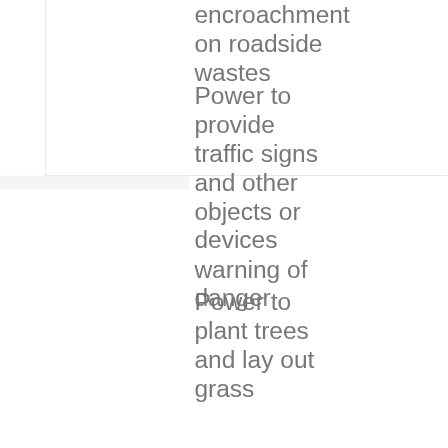encroachment on roadside wastes
Power to provide traffic signs and other objects or devices warning of danger
Power to plant trees and lay out grass